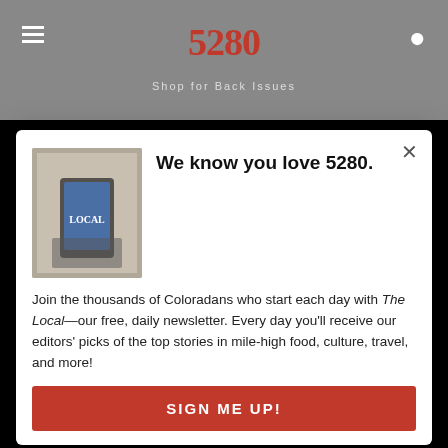5280 — Shop for Back Issues
Issue Archive
Subscriber Services: 1-866-271-5280
5280 Directories
Events
Dentists
Doctors
Lawyers
Restaurants
Real Estate Producers
Senior Living Communities
We know you love 5280.
Join the thousands of Coloradans who start each day with The Local—our free, daily newsletter. Every day you'll receive our editors' picks of the top stories in mile-high food, culture, travel, and more!
SIGN ME UP!
Best of 5280